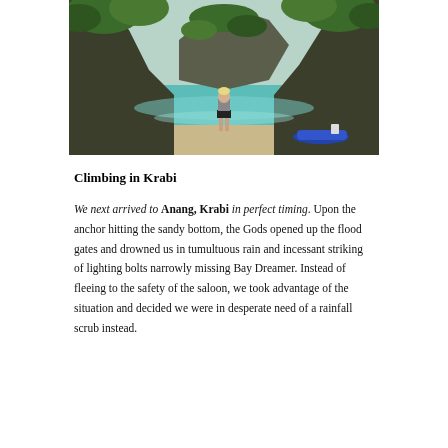[Figure (photo): A person standing on a sandy beach looking toward turquoise water flanked by tall limestone karst cliffs covered in green vegetation. A blue boat is visible on the right side of the beach.]
Climbing in Krabi
We next arrived to Anang, Krabi in perfect timing. Upon the anchor hitting the sandy bottom, the Gods opened up the flood gates and drowned us in tumultuous rain and incessant striking of lighting bolts narrowly missing Bay Dreamer. Instead of fleeing to the safety of the saloon, we took advantage of the situation and decided we were in desperate need of a rainfall scrub instead.